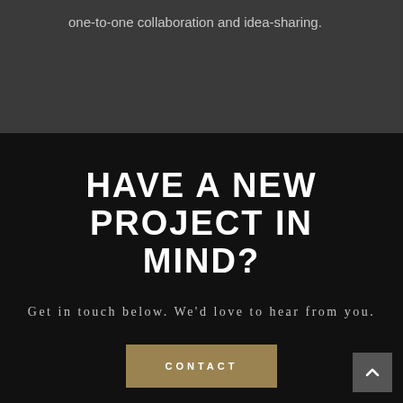one-to-one collaboration and idea-sharing.
HAVE A NEW PROJECT IN MIND?
Get in touch below. We'd love to hear from you.
CONTACT